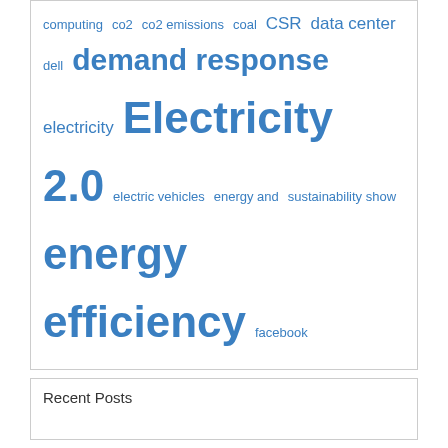[Figure (other): Tag cloud with blue hyperlinked terms of varying font sizes representing topics related to energy, technology, and sustainability. Terms include: computing, co2, co2 emissions, coal, CSR, data center, dell, demand response, electricity, Electricity 2.0, electric vehicles, energy and sustainability show, energy efficiency, facebook, Google, greenmonk, hp, IBM, internet of things, iot, Microsoft, mobile, open source, oracle, renewable energy, renewables, SAP, smarter cities, smart grid, smart meter, smart meters, sustainability, twitter, utilities, water, wearables, wind energy, wind power]
Recent Posts